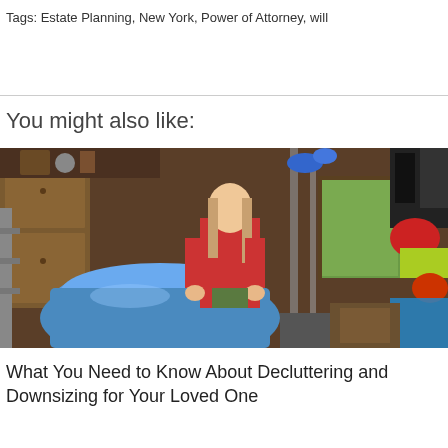Tags: Estate Planning, New York, Power of Attorney, will
You might also like:
[Figure (photo): A woman in a red shirt holding a large blue plastic storage bag in a cluttered garage or storage room, with various items such as brooms, bags, and stored goods visible around her.]
What You Need to Know About Decluttering and Downsizing for Your Loved One